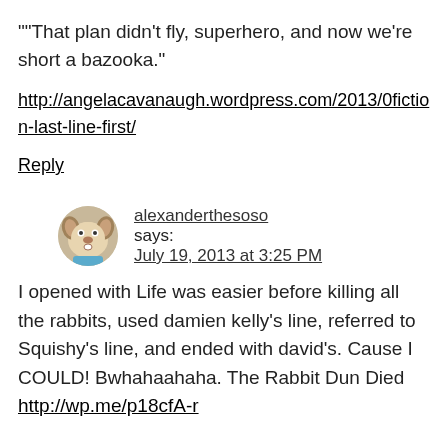““That plan didn’t fly, superhero, and now we’re short a bazooka.”
http://angelacavanaugh.wordpress.com/2013/0…fiction-last-line-first/
Reply
alexanderthesoso says:
July 19, 2013 at 3:25 PM
I opened with Life was easier before killing all the rabbits, used damien kelly’s line, referred to Squishy’s line, and ended with david’s. Cause I COULD! Bwhahaahaha. The Rabbit Dun Died http://wp.me/p18cfA-r